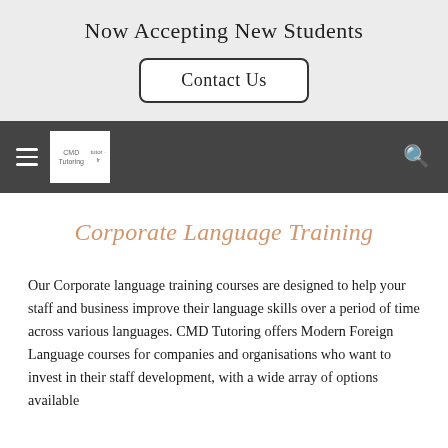Now Accepting New Students
Contact Us
[Figure (logo): CMD Tutoring logo in navbar]
Corporate Language Training
Our Corporate language training courses are designed to help your staff and business improve their language skills over a period of time across various languages. CMD Tutoring offers Modern Foreign Language courses for companies and organisations who want to invest in their staff development, with a wide array of options available